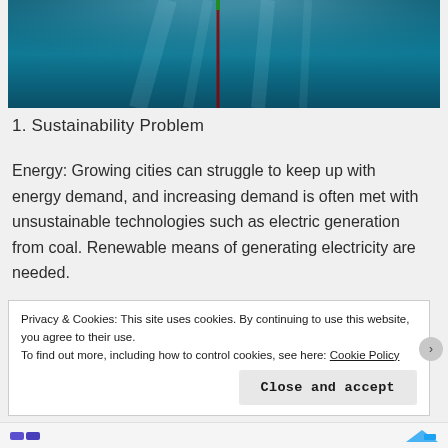[Figure (photo): Underwater scene with blue-green water and light rays, showing a vertical red/dark pole or structure descending into the water.]
1. Sustainability Problem
Energy: Growing cities can struggle to keep up with energy demand, and increasing demand is often met with unsustainable technologies such as electric generation from coal. Renewable means of generating electricity are needed.
Privacy & Cookies: This site uses cookies. By continuing to use this website, you agree to their use.
To find out more, including how to control cookies, see here: Cookie Policy
Close and accept